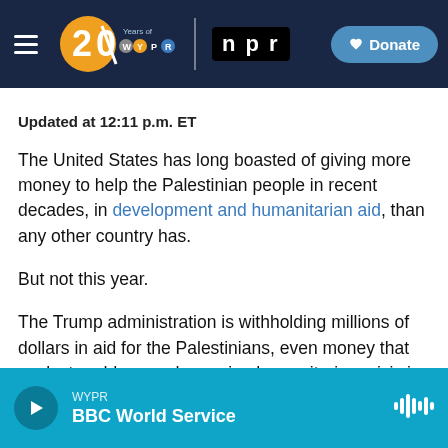WYPR 20 Years of WYPR | NPR | Donate
Updated at 12:11 p.m. ET
The United States has long boasted of giving more money to help the Palestinian people in recent decades, in development and humanitarian aid, than any other country has.
But not this year.
The Trump administration is withholding millions of dollars in aid for the Palestinians, even money that seeks to address a deepening humanitarian crisis in the Gaza Strip.
WYPR | BBC World Service